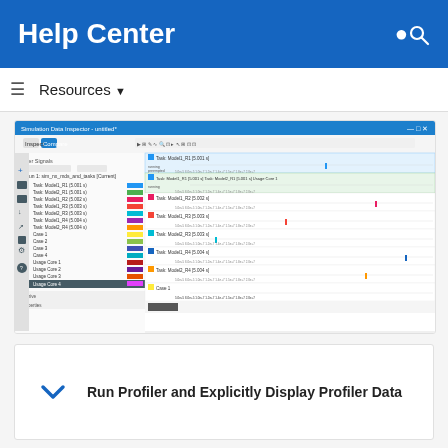Help Center
Resources ▼
[Figure (screenshot): Simulation Data Inspector window showing signal traces for multiple model tasks (Model1_R1, Model2_R1, Model1_R2, Model1_R3, Model2_R3, Model1_R4, Model2_R4) and usage cases (Case 1-4, Usage Core 1-3, Usage Core 4 selected) with timeline waveforms on the right panel]
Run Profiler and Explicitly Display Profiler Data